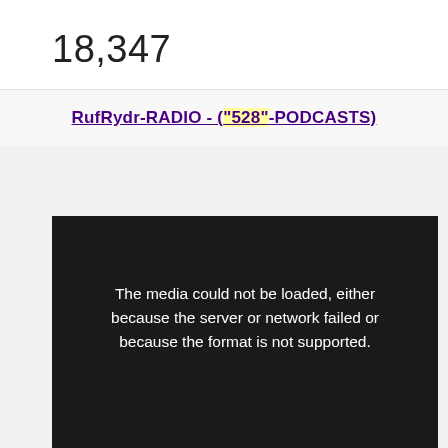18,347
RufRydr-RADIO - ("528"-PODCASTS)
[Figure (screenshot): Black video player area showing error message: 'The media could not be loaded, either because the server or network failed or because the format is not supported.']